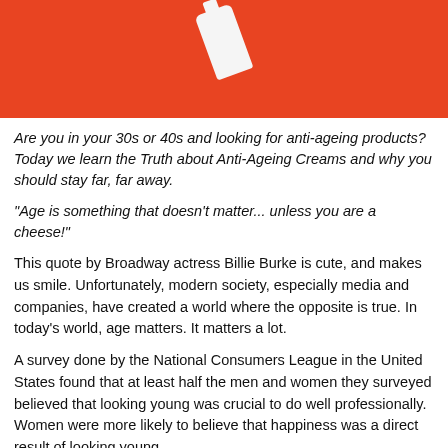[Figure (photo): Red/orange background with a white cream tube or container tilted diagonally, partially cropped at top]
Are you in your 30s or 40s and looking for anti-ageing products? Today we learn the Truth about Anti-Ageing Creams and why you should stay far, far away.
"Age is something that doesn't matter... unless you are a cheese!"
This quote by Broadway actress Billie Burke is cute, and makes us smile. Unfortunately, modern society, especially media and companies, have created a world where the opposite is true. In today's world, age matters. It matters a lot.
A survey done by the National Consumers League in the United States found that at least half the men and women they surveyed believed that looking young was crucial to do well professionally. Women were more likely to believe that happiness was a direct result of looking young.
Perhaps there is a reason more women think this way. Our society